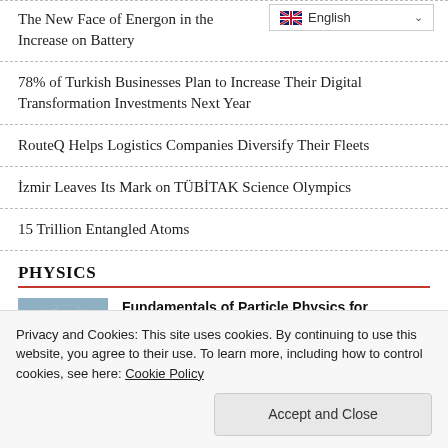The New Face of Energon in the Increase on Battery
[Figure (screenshot): Language selector showing English flag and dropdown]
78% of Turkish Businesses Plan to Increase Their Digital Transformation Investments Next Year
RouteQ Helps Logistics Companies Diversify Their Fleets
İzmir Leaves Its Mark on TÜBİTAK Science Olympics
15 Trillion Entangled Atoms
PHYSICS
[Figure (photo): Thumbnail photo for Fundamentals of Particle Physics for Accelerator Operators article]
Fundamentals of Particle Physics for Accelerator Operators
25/08/2022
Privacy and Cookies: This site uses cookies. By continuing to use this website, you agree to their use. To learn more, including how to control cookies, see here: Cookie Policy
Accept and Close